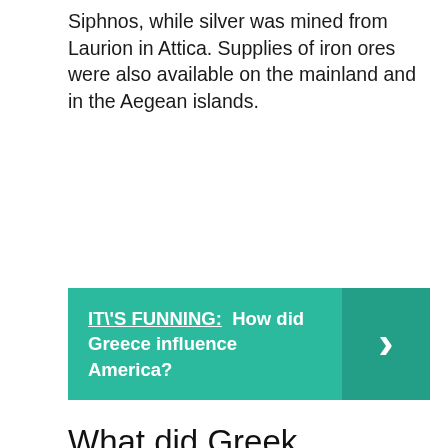Siphnos, while silver was mined from Laurion in Attica. Supplies of iron ores were also available on the mainland and in the Aegean islands.
[Figure (infographic): Teal/green banner with bold white text: 'IT\'S FUNNING: How did Greece influence America?' with a right-pointing chevron arrow on the right side in a darker teal box.]
What did Greek merchants trade?
Trading stations played an important role as the furthest outposts of Greek culture. Here, Greek goods, such as pottery (2009.529), bronzes, silver and gold vessels, olive oil, wine, and textiles, were exchanged for local items, and they were traded into the...